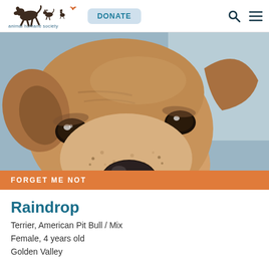animal humane society  DONATE
[Figure (photo): Close-up photo of a tan/fawn American Pit Bull Terrier mix dog named Raindrop looking into the camera with soulful eyes, against a light blue background. An orange banner at the bottom reads FORGET ME NOT.]
Raindrop
Terrier, American Pit Bull / Mix
Female, 4 years old
Golden Valley